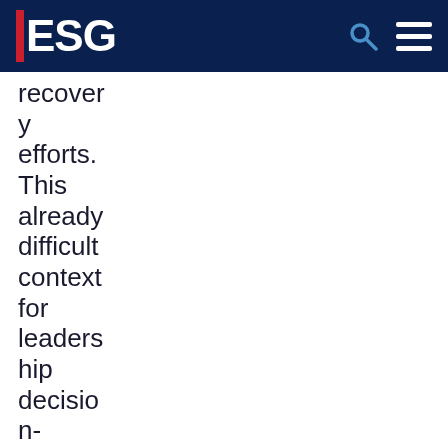ESG
recovery efforts. This already difficult context for leadership decision-making is further compounded by the state and federal context. While the new federal stimulus counteracted